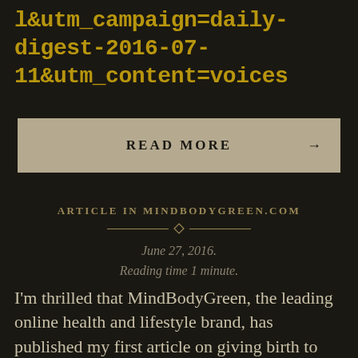l&utm_campaign=daily-digest-2016-07-11&utm_content=voices
READ MORE →
ARTICLE IN MINDBODYGREEN.COM
June 27, 2016.
Reading time 1 minute.
I'm thrilled that MindBodyGreen, the leading online health and lifestyle brand, has published my first article on giving birth to my first child at age 53.